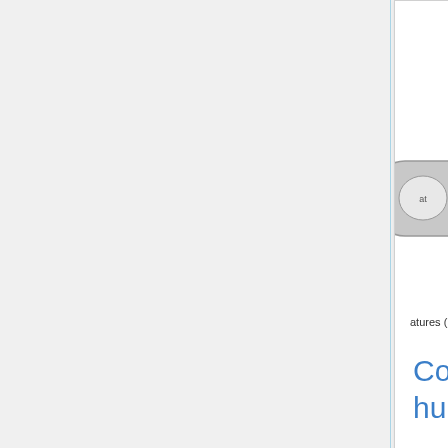[Figure (schematic): Partial diagram showing source features with labeled nodes (dog, size, sensor) in rounded rectangles, connected by arrows. Labels include 'longstanding semantic associations', 'temp. cont. to item featu.', 'source cont. to item featu.', 'source features', 'atures (F)']
Computational models of human memory
[Figure (illustration): Partially visible neuroscience scatter/brain image with colored clusters (blue, red/orange, yellow) on dark background, with axis labels showing -2.]
Neura... correla... episod...
The Computational Memory Lab uses mathematical modeling and computational